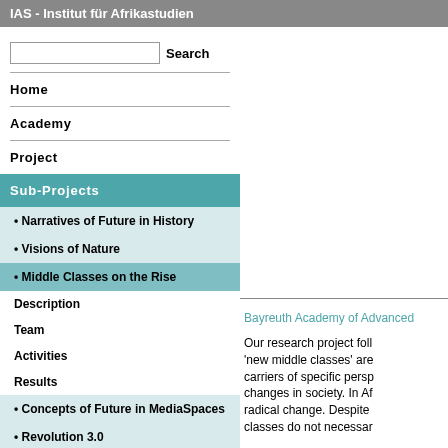IAS - Institut für Afrikastudien
[Figure (screenshot): Search input box with Search button]
Home
Academy
Project
Sub-Projects
• Narratives of Future in History
• Visions of Nature
• Middle Classes on the Rise
Description
Team
Activities
Results
• Concepts of Future in MediaSpaces
• Revolution 3.0
Bayreuth Academy of Advanced
Our research project foll 'new middle classes' are carriers of specific persp changes in society. In Af radical change. Despite classes do not necessar